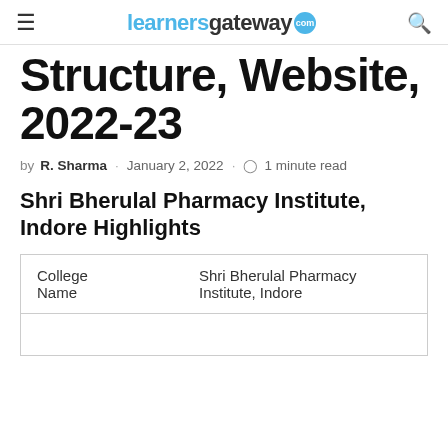learnersgateway.com
Structure, Website, 2022-23
by R. Sharma · January 2, 2022 · 1 minute read
Shri Bherulal Pharmacy Institute, Indore Highlights
| College Name |  |
| --- | --- |
| College Name | Shri Bherulal Pharmacy Institute, Indore |